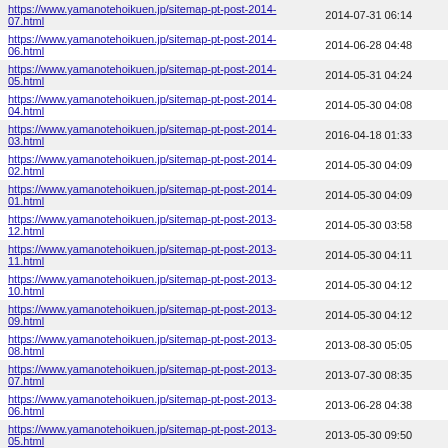| https://www.yamanotehoikuen.jp/sitemap-pt-post-2014-07.html | 2014-07-31 06:14 |
| https://www.yamanotehoikuen.jp/sitemap-pt-post-2014-06.html | 2014-06-28 04:48 |
| https://www.yamanotehoikuen.jp/sitemap-pt-post-2014-05.html | 2014-05-31 04:24 |
| https://www.yamanotehoikuen.jp/sitemap-pt-post-2014-04.html | 2014-05-30 04:08 |
| https://www.yamanotehoikuen.jp/sitemap-pt-post-2014-03.html | 2016-04-18 01:33 |
| https://www.yamanotehoikuen.jp/sitemap-pt-post-2014-02.html | 2014-05-30 04:09 |
| https://www.yamanotehoikuen.jp/sitemap-pt-post-2014-01.html | 2014-05-30 04:09 |
| https://www.yamanotehoikuen.jp/sitemap-pt-post-2013-12.html | 2014-05-30 03:58 |
| https://www.yamanotehoikuen.jp/sitemap-pt-post-2013-11.html | 2014-05-30 04:11 |
| https://www.yamanotehoikuen.jp/sitemap-pt-post-2013-10.html | 2014-05-30 04:12 |
| https://www.yamanotehoikuen.jp/sitemap-pt-post-2013-09.html | 2014-05-30 04:12 |
| https://www.yamanotehoikuen.jp/sitemap-pt-post-2013-08.html | 2013-08-30 05:05 |
| https://www.yamanotehoikuen.jp/sitemap-pt-post-2013-07.html | 2013-07-30 08:35 |
| https://www.yamanotehoikuen.jp/sitemap-pt-post-2013-06.html | 2013-06-28 04:38 |
| https://www.yamanotehoikuen.jp/sitemap-pt-post-2013-05.html | 2013-05-30 09:50 |
| https://www.yamanotehoikuen.jp/sitemap-pt-post-2013-04.html | 2013-04-30 09:08 |
| https://www.yamanotehoikuen.jp/sitemap-pt-post-2013-03.html | 2013-08-27 08:27 |
| https://www.yamanotehoikuen.jp/sitemap-pt-post-2013-02.html | 2013-02-28 09:51 |
| https://www.yamanotehoikuen.jp/sitemap-pt-post-2013-01.html | 2013-01-30 09:12 |